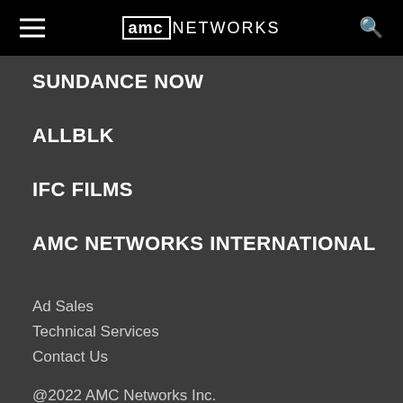AMC NETWORKS
SUNDANCE NOW
ALLBLK
IFC FILMS
AMC NETWORKS INTERNATIONAL
Ad Sales
Technical Services
Contact Us
@2022 AMC Networks Inc.